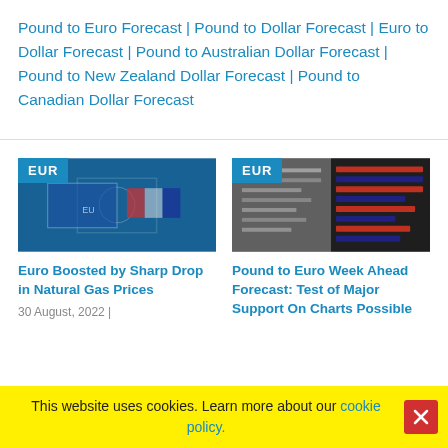Pound to Euro Forecast | Pound to Dollar Forecast | Euro to Dollar Forecast | Pound to Australian Dollar Forecast | Pound to New Zealand Dollar Forecast | Pound to Canadian Dollar Forecast
[Figure (photo): EUR badge over blue EU-themed image, illustrating Euro Boosted by Sharp Drop in Natural Gas Prices article]
Euro Boosted by Sharp Drop in Natural Gas Prices
30 August, 2022 |
[Figure (photo): EUR badge over currency exchange board image, illustrating Pound to Euro Week Ahead Forecast article]
Pound to Euro Week Ahead Forecast: Test of Major Support On Charts Possible
This website uses cookies. Learn more about our cookie policy.